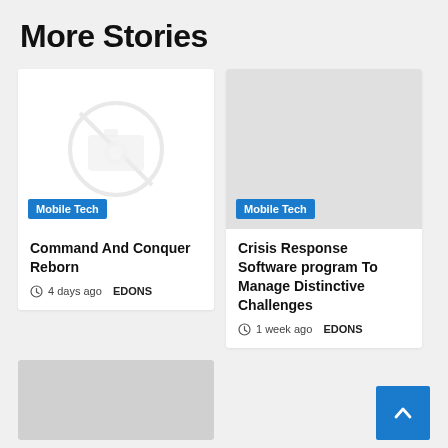More Stories
[Figure (illustration): Card with broken/missing image placeholder showing camera icon with slash through it, badge labeled Mobile Tech]
Command And Conquer Reborn
4 days ago  EDONS
[Figure (photo): Card with gray placeholder image, badge labeled Mobile Tech]
Crisis Response Software program To Manage Distinctive Challenges
1 week ago  EDONS
[Figure (photo): Partial gray placeholder image card at bottom left, partially visible]
[Figure (other): Blue back-to-top button with upward chevron arrow]